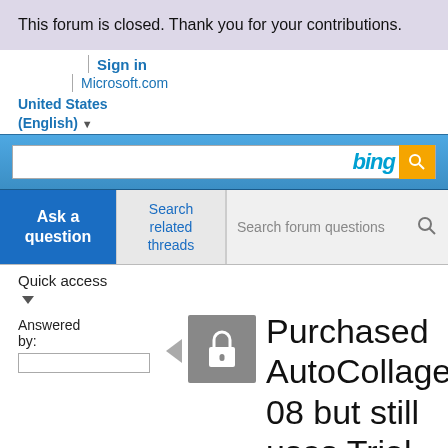This forum is closed. Thank you for your contributions.
Sign in
Microsoft.com
United States (English)
[Figure (screenshot): Bing search bar with orange search button]
Ask a question
Search related threads
Search forum questions
Quick access
Answered by:
Purchased AutoCollage 08 but still uses Trial version on pictures